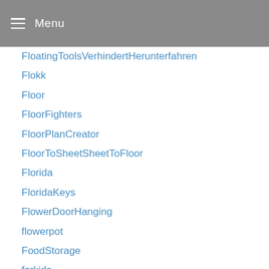Menu
FloatingToolsVerhindertHerunterfahren
Flokk
Floor
FloorFighters
FloorPlanCreator
FloorToSheetSheetToFloor
Florida
FloridaKeys
FlowerDoorHanging
flowerpot
FoodStorage
forkids
ForLiving24Erfahrungen
ForMeOnline
ForwallFototapete
ForwallFwsp1045
france